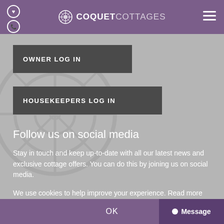COQUET COTTAGES
OWNER LOG IN
HOUSEKEEPERS LOG IN
Follow us on social media
Stay in touch and keep up-to-date with all our latest news and exclusive cottage offers. You can do this by joining us on social media.
We use cookies to help improve your experience. Read more
OK  Message